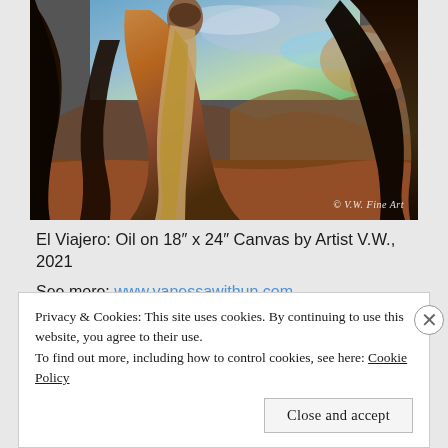[Figure (illustration): Oil painting titled 'El Viajero' showing a figure with long flowing hair/cloak against a dramatic landscape with dark trees and a colorful sky. Watermark reads '© V.W. Fine Art' in bottom right corner.]
El Viajero: Oil on 18" x 24" Canvas by Artist V.W., 2021
See more: www.vanessawithun.com
Privacy & Cookies: This site uses cookies. By continuing to use this website, you agree to their use.
To find out more, including how to control cookies, see here: Cookie Policy